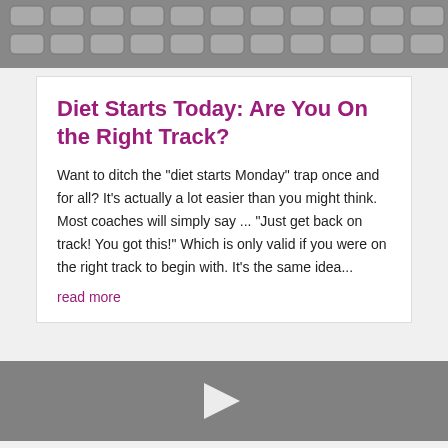[Figure (photo): Grayscale photo of a laptop keyboard, cropped at the top of the page]
Diet Starts Today: Are You On the Right Track?
Want to ditch the "diet starts Monday" trap once and for all? It's actually a lot easier than you might think. Most coaches will simply say ... "Just get back on track! You got this!" Which is only valid if you were on the right track to begin with. It's the same idea...
read more
[Figure (photo): Grayscale image with a white play button triangle in the center, partially visible at the bottom of the page]